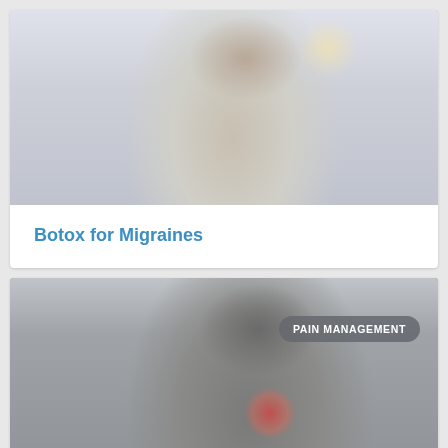[Figure (photo): Woman in light blue shirt holding glasses, pressing hand to her head/face in pain, suggesting a migraine headache. Light, slightly blurred background.]
Botox for Migraines
[Figure (photo): Black and white photo of a woman with short dark hair wincing in pain, with a red highlighted area on her jaw/cheek area indicating pain. A pill badge overlay reads 'PAIN MANAGEMENT'.]
PAIN MANAGEMENT